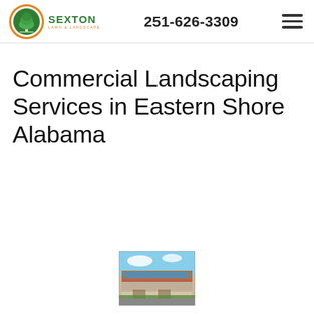Sexton Lawn & Landscape — 251-626-3309
Commercial Landscaping Services in Eastern Shore Alabama
[Figure (photo): Small thumbnail photo of a commercial building with a blue sky, appears to be a shopping center or office building with landscaping.]